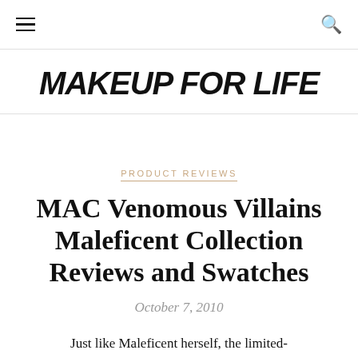MAKEUP FOR LIFE
PRODUCT REVIEWS
MAC Venomous Villains Maleficent Collection Reviews and Swatches
October 7, 2010
Just like Maleficent herself, the limited-